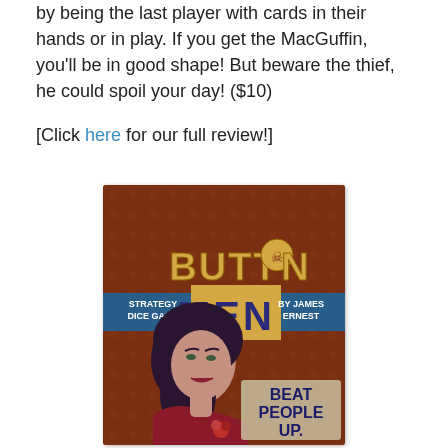by being the last player with cards in their hands or in play. If you get the MacGuffin, you'll be in good shape! But beware the thief, he could spoil your day! ($10)
[Click here for our full review!]
[Figure (photo): Button Men: Strategy Dice Game by James Ernest box art featuring a stylized noir woman with dark hair and the tagline 'BEAT PEOPLE UP.']